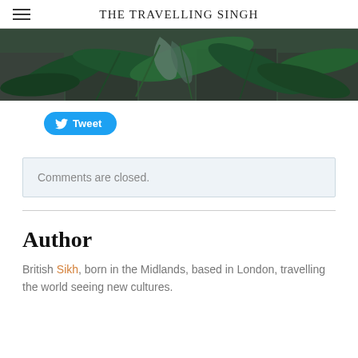THE TRAVELLING SINGH
[Figure (photo): Close-up photo of green tropical leaves and plants on a dark stone/slate surface]
Tweet
Comments are closed.
Author
British Sikh, born in the Midlands, based in London, travelling the world seeing new cultures.